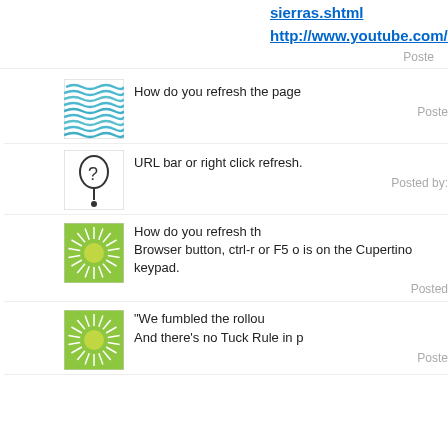sierras.shtml
http://www.youtube.com/wa
Posted
[Figure (illustration): Blue wavy lines avatar icon]
How do you refresh the page
Poste
[Figure (illustration): Person with question mark avatar icon]
URL bar or right click refresh.
Posted by:
[Figure (illustration): Green sunburst avatar icon]
How do you refresh th
Browser button, ctrl-r or F5 o is on the Cupertino keypad.
Posted
[Figure (illustration): Green sunburst avatar icon]
"We fumbled the rollou
And there's no Tuck Rule in p
Poste